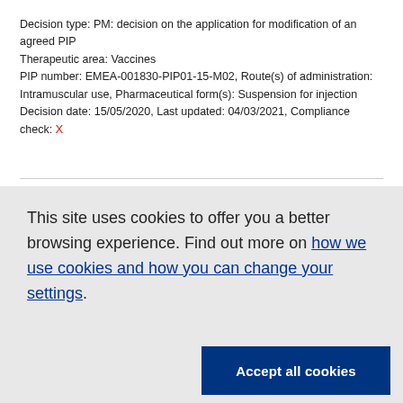Decision type: PM: decision on the application for modification of an agreed PIP
Therapeutic area: Vaccines
PIP number: EMEA-001830-PIP01-15-M02, Route(s) of administration: Intramuscular use, Pharmaceutical form(s): Suspension for injection
Decision date: 15/05/2020, Last updated: 04/03/2021, Compliance check: X
This site uses cookies to offer you a better browsing experience. Find out more on how we use cookies and how you can change your settings.
Accept all cookies
Accept only essential cookies